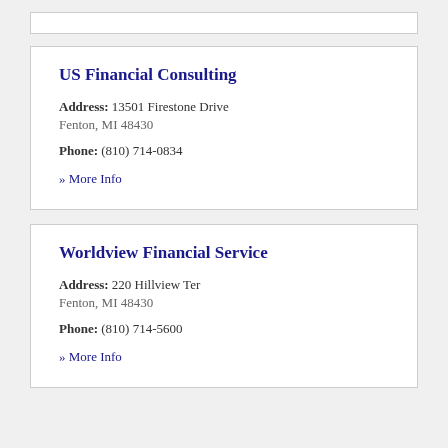US Financial Consulting - Address: 13501 Firestone Drive, Fenton, MI 48430 - Phone: (810) 714-0834 - More Info
Worldview Financial Service - Address: 220 Hillview Ter, Fenton, MI 48430 - Phone: (810) 714-5600 - More Info